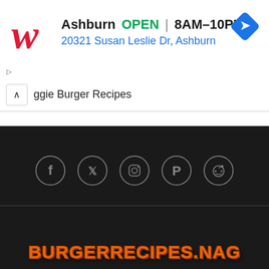[Figure (screenshot): Walgreens advertisement banner showing Ashburn location, OPEN 8AM-10PM, address 20321 Susan Leslie Dr, Ashburn, with Walgreens logo and navigation diamond icon]
ggie Burger Recipes
[Figure (screenshot): Dark footer section with social media icons (Facebook, Twitter, Instagram, Pinterest, Reddit) in circle outlines, a horizontal divider, and the site logo BURGERRECIPES.NAG in orange stylized text]